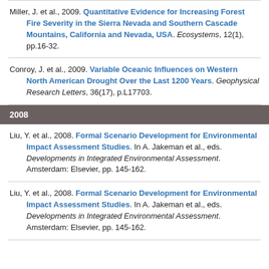Miller, J. et al., 2009. Quantitative Evidence for Increasing Forest Fire Severity in the Sierra Nevada and Southern Cascade Mountains, California and Nevada, USA. Ecosystems, 12(1), pp.16-32.
Conroy, J. et al., 2009. Variable Oceanic Influences on Western North American Drought Over the Last 1200 Years. Geophysical Research Letters, 36(17), p.L17703.
2008
Liu, Y. et al., 2008. Formal Scenario Development for Environmental Impact Assessment Studies. In A. Jakeman et al., eds. Developments in Integrated Environmental Assessment. Amsterdam: Elsevier, pp. 145-162.
Liu, Y. et al., 2008. Formal Scenario Development for Environmental Impact Assessment Studies. In A. Jakeman et al., eds. Developments in Integrated Environmental Assessment. Amsterdam: Elsevier, pp. 145-162.